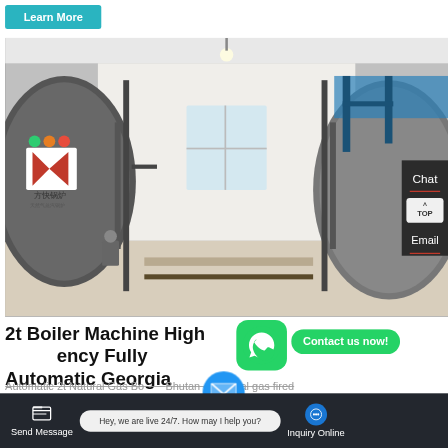Learn More
[Figure (photo): Industrial boiler machines in a factory setting. Two large cylindrical boiler units are visible on both sides of a walkway. The left boiler has a red K logo with Chinese characters (方快锅炉). Pipes and fittings are visible throughout. The room has white walls and a window in the background.]
Chat
TOP
Email
2t Boiler Machine High Efficiency Fully Automatic Georgia
Contact us now!
Automatic 2t Natural Gas Boiler Bhutan 4t natural gas fired
Send Message
Hey, we are live 24/7. How may I help you?
Inquiry Online